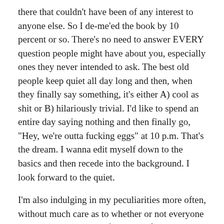there that couldn't have been of any interest to anyone else. So I de-me'ed the book by 10 percent or so. There's no need to answer EVERY question people might have about you, especially ones they never intended to ask. The best old people keep quiet all day long and then, when they finally say something, it's either A) cool as shit or B) hilariously trivial. I'd like to spend an entire day saying nothing and then finally go, "Hey, we're outta fucking eggs" at 10 p.m. That's the dream. I wanna edit myself down to the basics and then recede into the background. I look forward to the quiet.
I'm also indulging in my peculiarities more often, without much care as to whether or not everyone around me thinks I'm a freakshow for having them. I wear a thin hoodie everywhere, even in deep heat.